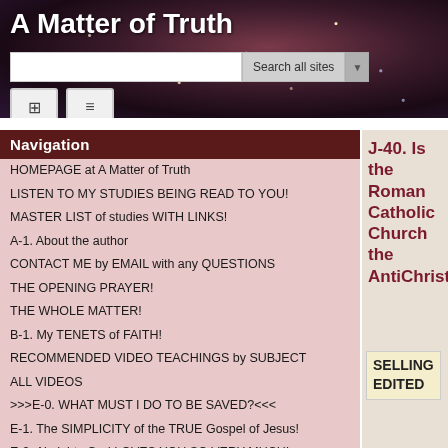A Matter of Truth
J-40. Is the Roman Catholic Church the AntiChrist?
Navigation
HOMEPAGE at A Matter of Truth
LISTEN TO MY STUDIES BEING READ TO YOU!
MASTER LIST of studies WITH LINKS!
A-1. About the author
CONTACT ME by EMAIL with any QUESTIONS
THE OPENING PRAYER!
THE WHOLE MATTER!
B-1. My TENETS of FAITH!
RECOMMENDED VIDEO TEACHINGS by SUBJECT
ALL VIDEOS
>>>E-0. WHAT MUST I DO TO BE SAVED?<<<
E-1. The SIMPLICITY of the TRUE Gospel of Jesus!
E-2. Almighty God LOVES YOU SO VERY MUCH!
E-3. WHY DO I NEED TO BE SAVED?
E-4. HOW CAN I BE SAVED?
E-5. WHAT IS THE SINNERS' PRAYER?
E-6. FOR NEW BELIEVERS IN JESUS!
SELLING EDITED